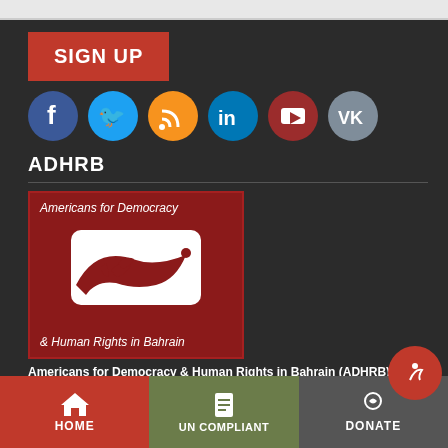[Figure (screenshot): Top white navigation bar strip]
SIGN UP
[Figure (infographic): Row of social media icons: Facebook (blue), Twitter (blue), RSS (orange), LinkedIn (blue), YouTube (red), VK (grey)]
ADHRB
[Figure (logo): ADHRB logo: red square with text 'Americans for Democracy' at top, white dove/peace symbol in center, '& Human Rights in Bahrain' at bottom, on dark red background]
Americans for Democracy & Human Rights in Bahrain (ADHRB) box
HOME | UN COMPLIANT | DONATE